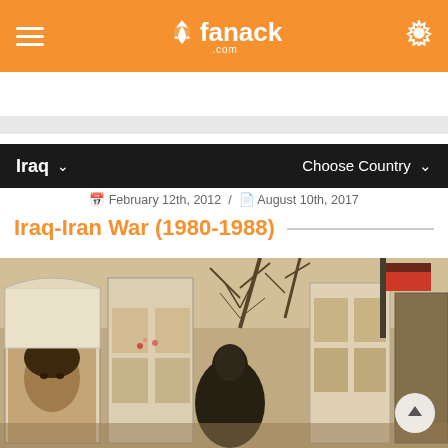fanack.com — hamburger menu, logo, gear icon on orange nav bar; Iraq / Choose Country on black secondary nav
Fanack Home / Iraq / Past to Present / Iraq-Iran War (1980-1988)
February 12th, 2012 / August 10th, 2017
Iraq-Iran War (1980-1988)
[Figure (photo): Cemetery or memorial scene showing portrait photographs of soldiers/martyrs displayed in glass cases or kiosks; a figure in a black chador/abaya is seen from behind in the center; bare trees and flags visible in the background; warm sepia/muted tones.]